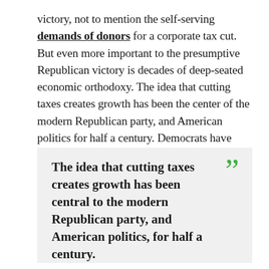victory, not to mention the self-serving demands of donors for a corporate tax cut. But even more important to the presumptive Republican victory is decades of deep-seated economic orthodoxy. The idea that cutting taxes creates growth has been the center of the modern Republican party, and American politics for half a century. Democrats have long been on the defensive on the issue of taxes, and they have yet to offer a positive argument for the role that taxes play in creating a healthy and strong economy.
The idea that cutting taxes creates growth has been central to the modern Republican party, and American politics, for half a century.